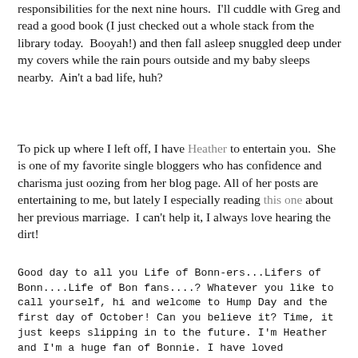responsibilities for the next nine hours.  I'll cuddle with Greg and read a good book (I just checked out a whole stack from the library today.  Booyah!) and then fall asleep snuggled deep under my covers while the rain pours outside and my baby sleeps nearby.  Ain't a bad life, huh?
To pick up where I left off, I have Heather to entertain you.  She is one of my favorite single bloggers who has confidence and charisma just oozing from her blog page. All of her posts are entertaining to me, but lately I especially reading this one about her previous marriage.  I can't help it, I always love hearing the dirt!
Good day to all you Life of Bonn-ers...Lifers of Bonn....Life of Bon fans....? Whatever you like to call yourself, hi and welcome to Hump Day and the first day of October! Can you believe it? Time, it just keeps slipping in to the future. I'm Heather and I'm a huge fan of Bonnie. I have loved sponsoring her blog and am ecstatic at the opportunity to write to you all today! Over at my blog, When you're making plans, I talk a lot about what happens when I make plans! I'm single so I